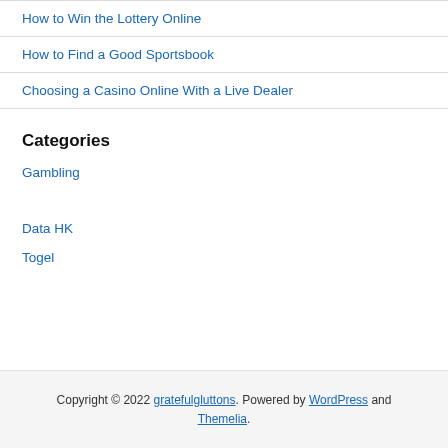How to Win the Lottery Online
How to Find a Good Sportsbook
Choosing a Casino Online With a Live Dealer
Categories
Gambling
Data HK
Togel
Copyright © 2022 gratefulgluttons. Powered by WordPress and Themelia.